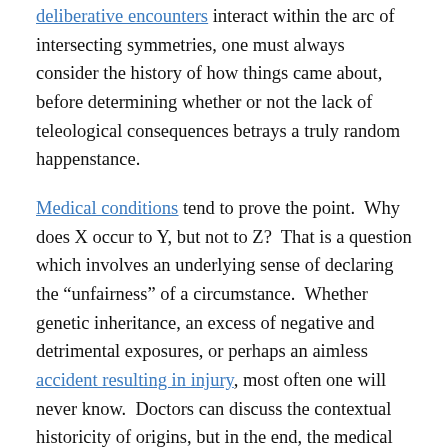deliberative encounters interact within the arc of intersecting symmetries, one must always consider the history of how things came about, before determining whether or not the lack of teleological consequences betrays a truly random happenstance.
Medical conditions tend to prove the point. Why does X occur to Y, but not to Z? That is a question which involves an underlying sense of declaring the “unfairness” of a circumstance. Whether genetic inheritance, an excess of negative and detrimental exposures, or perhaps an aimless accident resulting in injury, most often one will never know. Doctors can discuss the contextual historicity of origins, but in the end, the medical condition must be accepted, and engaged.
For Federal employees and U.S. Postal workers whose lives have been impacted by a medical condition and